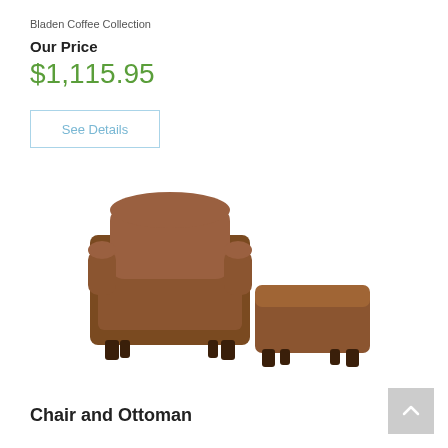Bladen Coffee Collection
Our Price
$1,115.95
See Details
[Figure (photo): Brown leather-look chair with matching ottoman - Bladen Coffee Collection Chair and Ottoman set]
Chair and Ottoman